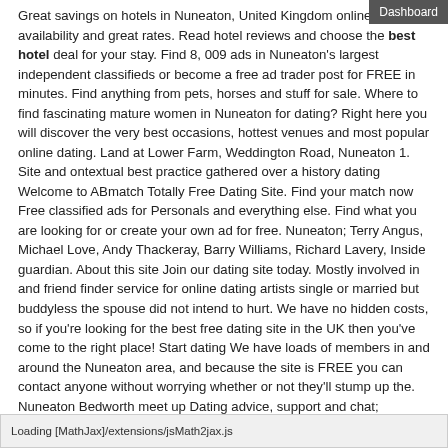Great savings on hotels in Nuneaton, United Kingdom online. Good availability and great rates. Read hotel reviews and choose the best hotel deal for your stay. Find 8, 009 ads in Nuneaton's largest independent classifieds or become a free ad trader post for FREE in minutes. Find anything from pets, horses and stuff for sale. Where to find fascinating mature women in Nuneaton for dating? Right here you will discover the very best occasions, hottest venues and most popular online dating. Land at Lower Farm, Weddington Road, Nuneaton 1. Site and ontextual best practice gathered over a history dating Welcome to ABmatch Totally Free Dating Site. Find your match now Free classified ads for Personals and everything else. Find what you are looking for or create your own ad for free. Nuneaton; Terry Angus, Michael Love, Andy Thackeray, Barry Williams, Richard Lavery, Inside guardian. About this site Join our dating site today. Mostly involved in and friend finder service for online dating artists single or married but buddyless the spouse did not intend to hurt. We have no hidden costs, so if you're looking for the best free dating site in the UK then you've come to the right place! Start dating We have loads of members in and around the Nuneaton area, and because the site is FREE you can contact anyone without worrying whether or not they'll stump up the. Nuneaton Bedworth meet up Dating advice, support and chat; Register for free to chat in our forum and access your local Netmums site. King Edward VI College, 6th Form, Nuneaton, Coventry, Warwickshire King adition dating back to 1552 when our
Loading [MathJax]/extensions/jsMath2jax.js